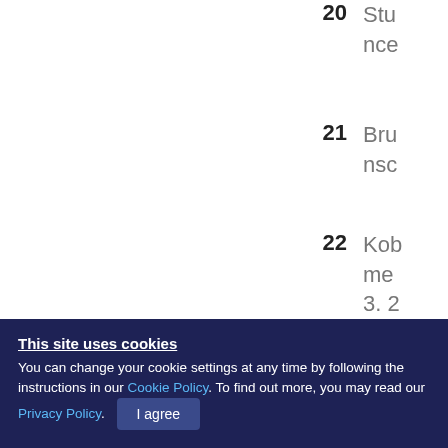20  Stu
nce
21  Bru
nsc
22  Kob
me
3. 2
23  An
pro
900
24  ...
This site uses cookies
You can change your cookie settings at any time by following the instructions in our Cookie Policy. To find out more, you may read our Privacy Policy.
I agree